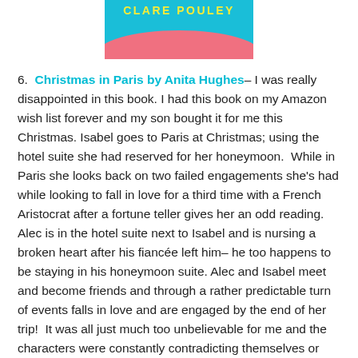[Figure (illustration): Partial book cover image showing 'CLARE POULEY' text in yellow on teal background with pink/coral wave shape at the bottom]
6. Christmas in Paris by Anita Hughes– I was really disappointed in this book. I had this book on my Amazon wish list forever and my son bought it for me this Christmas. Isabel goes to Paris at Christmas; using the hotel suite she had reserved for her honeymoon.  While in Paris she looks back on two failed engagements she's had while looking to fall in love for a third time with a French Aristocrat after a fortune teller gives her an odd reading.  Alec is in the hotel suite next to Isabel and is nursing a broken heart after his fiancée left him– he too happens to be staying in his honeymoon suite. Alec and Isabel meet and become friends and through a rather predictable turn of events falls in love and are engaged by the end of her trip!  It was all just much too unbelievable for me and the characters were constantly contradicting themselves or repeating themselves and I just thought the story was